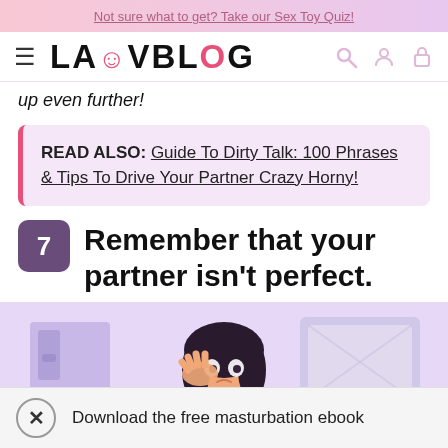Not sure what to get? Take our Sex Toy Quiz!
LAUVBLOG (navigation logo and icons)
up even further!
READ ALSO: Guide To Dirty Talk: 100 Phrases & Tips To Drive Your Partner Crazy Horny!
7  Remember that your partner isn't perfect.
[Figure (illustration): Illustration of a woman with dark hair holding her hand to her face, looking stressed or upset, in a purple/lavender room setting]
Download the free masturbation ebook